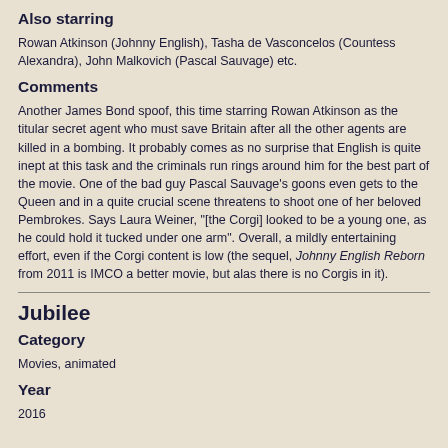Also starring
Rowan Atkinson (Johnny English), Tasha de Vasconcelos (Countess Alexandra), John Malkovich (Pascal Sauvage) etc.
Comments
Another James Bond spoof, this time starring Rowan Atkinson as the titular secret agent who must save Britain after all the other agents are killed in a bombing. It probably comes as no surprise that English is quite inept at this task and the criminals run rings around him for the best part of the movie. One of the bad guy Pascal Sauvage's goons even gets to the Queen and in a quite crucial scene threatens to shoot one of her beloved Pembrokes. Says Laura Weiner, "[the Corgi] looked to be a young one, as he could hold it tucked under one arm". Overall, a mildly entertaining effort, even if the Corgi content is low (the sequel, Johnny English Reborn from 2011 is IMCO a better movie, but alas there is no Corgis in it).
Jubilee
Category
Movies, animated
Year
2016